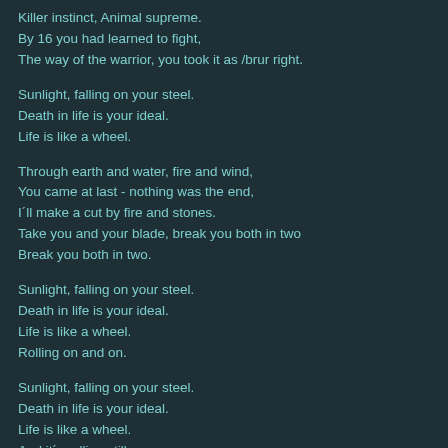Killer instinct, Animal supreme.
By 16 you had learned to fight,
The way of the warrior, you took it as /brur right.
Sunlight, falling on your steel.
Death in life is your ideal.
Life is like a wheel.
Through earth and water, fire and wind,
You came at last - nothing was the end,
I´ll make a cut by fire and stones.
Take you and your blade, break you both in two
Break you both in two.
Sunlight, falling on your steel.
Death in life is your ideal.
Life is like a wheel.
Rolling on and on.
Sunlight, falling on your steel.
Death in life is your ideal.
Life is like a wheel.
And it´s rolling still.
To Time A Land